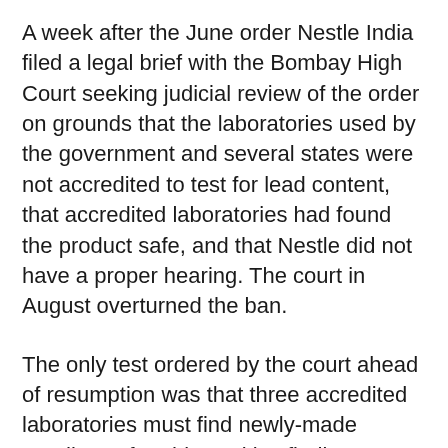A week after the June order Nestle India filed a legal brief with the Bombay High Court seeking judicial review of the order on grounds that the laboratories used by the government and several states were not accredited to test for lead content, that accredited laboratories had found the product safe, and that Nestle did not have a proper hearing. The court in August overturned the ban.
The only test ordered by the court ahead of resumption was that three accredited laboratories must find newly-made noodles safe. This positive finding came at the middle of October, and it was early November that Nestle India made the noodles once again.
Nestle faces a class action lawsuit filed by a consumer commission seeking $100 million in damages on behalf of Indian consumers. It asks for damages because of "unfair trade practices, sale of defective goods and sale of goods to the